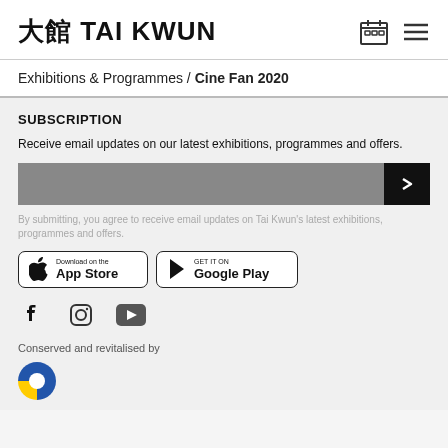大館 TAI KWUN
Exhibitions & Programmes / Cine Fan 2020
SUBSCRIPTION
Receive email updates on our latest exhibitions, programmes and offers.
By submitting, you agree to receive email updates on Tai Kwun's latest exhibitions, programmes and offers.
[Figure (screenshot): App Store and Google Play download buttons]
[Figure (infographic): Facebook, Instagram, and YouTube social media icons]
Conserved and revitalised by